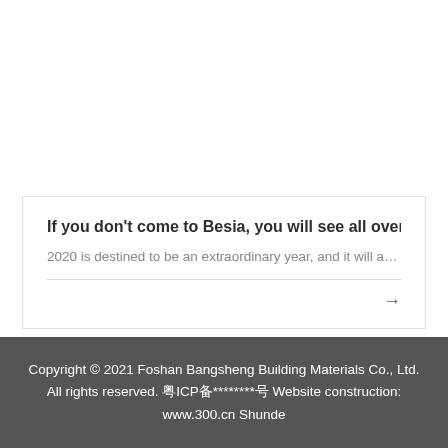If you don't come to Besia, you will see all over Tanzho
2020 is destined to be an extraordinary year, and it will a...
Copyright © 2021 Foshan Bangsheng Building Materials Co., Ltd. All rights reserved. 粤ICP备********号 Website construction: www.300.cn Shunde